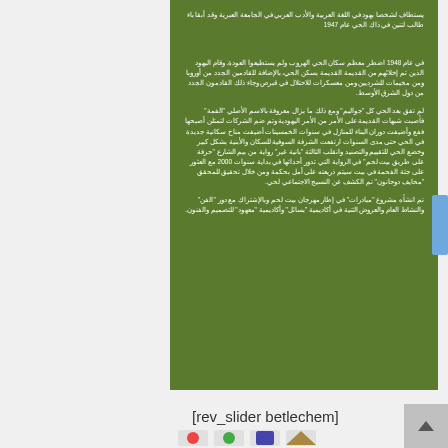يستطاف لشخصا بهود في اللغة العربية والأدب العربي في الجامعة العبرية وقد أبقا باء طالب لتنين في ذاك الحي عام 1947
في عام 1948 اضطر معظم سكان الحي الهروب ولم يستطيعوا العودة. وقام اليهود الذين تم إخلائهم من القديمة القديمة بسكن الحي، بالإضافة للقادمين الجدد من أوروبا ومن مخيمات للشرديين ومن معسكرات للاحتلال في قبرص وجاء ذلك القادمون الجدد من دول الشرق الأوسط.

لم تفق بعد الحي كل "جواليم" ومع ذلك ما يزال معروفة بالاسم الأصلي "الفمة" فأصبت شبهات القديمة على الأمر من الأمر اليهودية وتم ضم الشركات لتمتلن أصبحها ففع وأضيفت دوران البناء للمنازل في سنوات الخمسينات أضيفت مناخ سكانية جديدة في الحي حتى مدى السنوات ارتفعت الشرفة السوفية للسكان والأبنية بشكل كبير وخضع الحي للتقييم والتصنيد وانقلب الثالثة "بانية غير" رواية من بيم الشارع "حرفة على طريق بيت لحم" في الرواية التي تدور أحداثها في بداية سنوات 2000 مع العثور على جثة الفحمة في بيت سيتم ذريعته على أمل بحكمة ومن خلال تحقيق للمحقق "محايف دوحانون" تم الكشف عن النسيج الاجتماعي لحي.

تم انشأه مشروع "مبادرات" في إطار مهرجان بيت لحم وبالإشتراك مع دور "الفن" والنشاط العام والعروض الثنية في أكاديمية "بسائل" وأكاديمية "معهود" للتصميم والفنون.
[rev_slider betlechem]